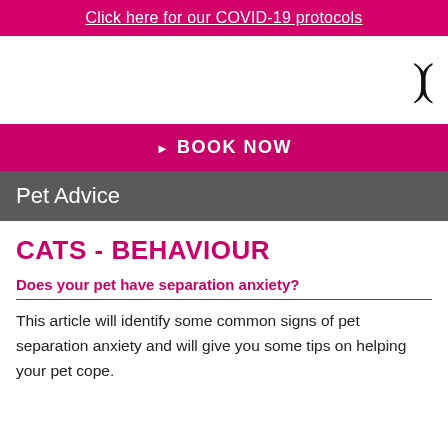Click here for our COVID-19 protocols
[Figure (logo): Logo area with stylized parentheses symbol on the right side]
BOOK NOW
Pet Advice
CATS - BEHAVIOUR
Does your pet have separation anxiety?
This article will identify some common signs of pet separation anxiety and will give you some tips on helping your pet cope.